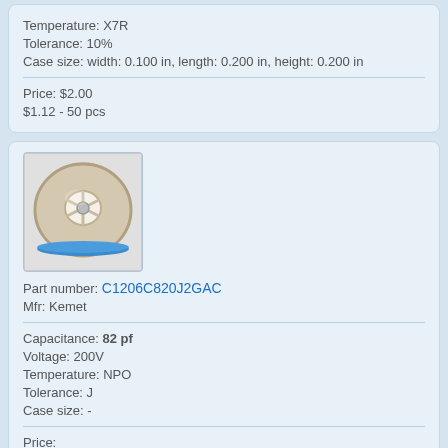Temperature: X7R
Tolerance: 10%
Case size: width: 0.100 in, length: 0.200 in, height: 0.200 in
Price: $2.00
$1.12 - 50 pcs
[Figure (photo): Photo of a component reel (spool) with white plastic hub and blue tape, containing SMD capacitors]
Part number: C1206C820J2GAC
Mfr: Kemet
Capacitance: 82 pf
Voltage: 200V
Temperature: NPO
Tolerance: J
Case size: -
Price:
IN STOCK
REQUEST THE PRICE.